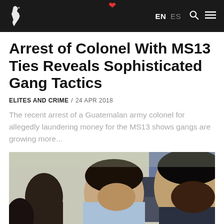InSight Crime — EN ES navigation bar with search and menu icons
Arrest of Colonel With MS13 Ties Reveals Sophisticated Gang Tactics
ELITES AND CRIME / 24 APR 2018
The recent arrest of a Guatemalan army colonel for allegedly laundering money for the MS13 shows gangs are growing more...
[Figure (photo): Photo of two men with dark hair outdoors, with a third person partially visible in background. The man on the right has a beard and is wearing a suit; the man in the center is wearing a light blue shirt.]